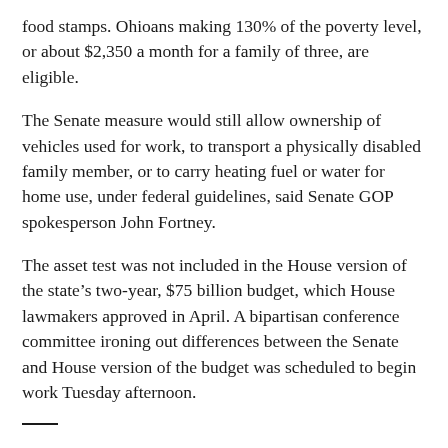food stamps. Ohioans making 130% of the poverty level, or about $2,350 a month for a family of three, are eligible.
The Senate measure would still allow ownership of vehicles used for work, to transport a physically disabled family member, or to carry heating fuel or water for home use, under federal guidelines, said Senate GOP spokesperson John Fortney.
The asset test was not included in the House version of the state’s two-year, $75 billion budget, which House lawmakers approved in April. A bipartisan conference committee ironing out differences between the Senate and House version of the budget was scheduled to begin work Tuesday afternoon.
The story has been updated to correct that Kelsey Bergfeld is director of Columbus-based Advocates for Ohio’s Future.